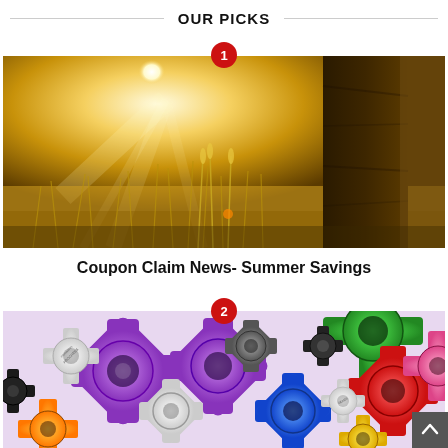OUR PICKS
[Figure (photo): Sunlit meadow with tall grasses and a tree trunk on the right, warm golden light, nature scene. Number badge '1' overlaid at top center.]
Coupon Claim News- Summer Savings
[Figure (photo): Colorful interlocking gear wheels in purple, green, red, blue, white and other colors. Number badge '2' overlaid at top center.]